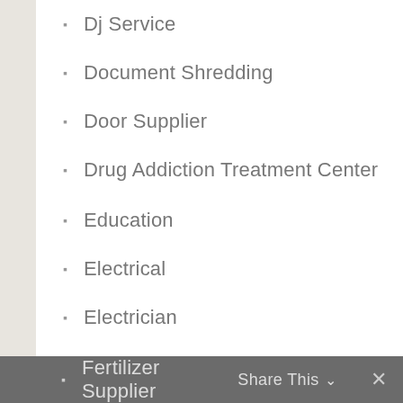Dj Service
Document Shredding
Door Supplier
Drug Addiction Treatment Center
Education
Electrical
Electrician
Electronics and Electrical
Employment Agency
Environmental Consultant
Event Planning
Event Venue
Eye Care
Eyeglasses
Fence Contractor
Fertilizer Supplier
Share This  ×